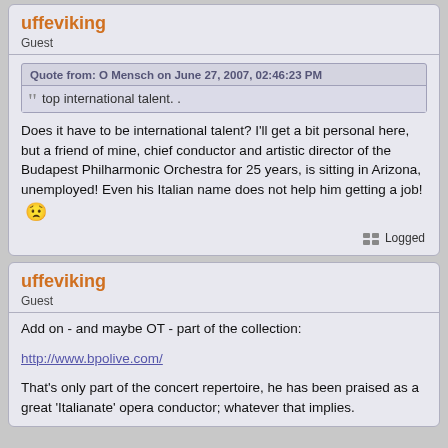uffeviking
Guest
Quote from: O Mensch on June 27, 2007, 02:46:23 PM
top international talent. .
Does it have to be international talent? I'll get a bit personal here, but a friend of mine, chief conductor and artistic director of the Budapest Philharmonic Orchestra for 25 years, is sitting in Arizona, unemployed! Even his Italian name does not help him getting a job! 😟
Logged
uffeviking
Guest
Add on - and maybe OT - part of the collection:
http://www.bpolive.com/
That's only part of the concert repertoire, he has been praised as a great 'Italianate' opera conductor; whatever that implies.